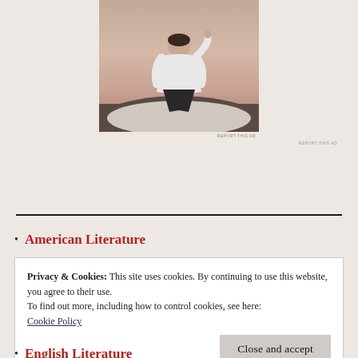[Figure (photo): A person in a white t-shirt sitting on a rock, viewed from behind, with a sunset/dusk sky in the background.]
REPORT THIS AD
American Literature
Privacy & Cookies: This site uses cookies. By continuing to use this website, you agree to their use.
To find out more, including how to control cookies, see here:
Cookie Policy
Close and accept
English Literature